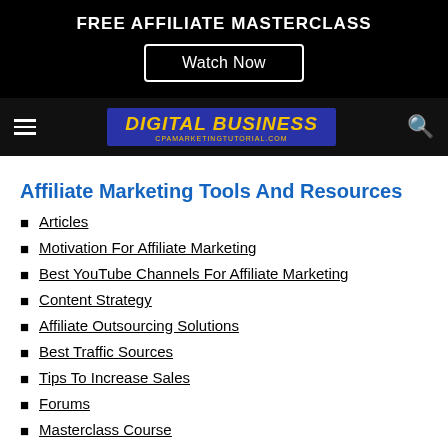FREE AFFILIATE MASTERCLASS
Watch Now
[Figure (logo): Digital Business logo with CPAMARKETINGTUTORIAL.COM subtitle on blue background]
Affiliate Marketing Tools And Resources
Articles
Motivation For Affiliate Marketing
Best YouTube Channels For Affiliate Marketing
Content Strategy
Affiliate Outsourcing Solutions
Best Traffic Sources
Tips To Increase Sales
Forums
Masterclass Course